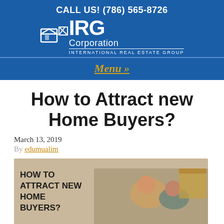CALL US! (786) 565-8726 | IRG Corporation | INTERNATIONAL REAL ESTATE GROUP
How to Attract new Home Buyers?
March 13, 2019
By edumualim
[Figure (photo): Photo of a couple lying down relaxing with moving boxes, with bold text overlay reading HOW TO ATTRACT NEW HOME BUYERS?]